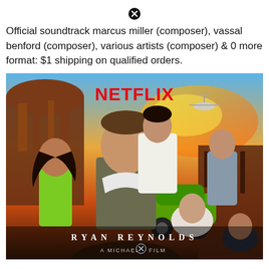[Figure (other): Close/X button icon at top center]
Official soundtrack marcus miller (composer), vassal benford (composer), various artists (composer) & 0 more format: $1 shipping on qualified orders.
[Figure (photo): Netflix movie poster for a Ryan Reynolds action film. Shows Ryan Reynolds in foreground with tactical gear, multiple actors in background, explosion and helicopter in sky, Florence/Italian architecture. Red NETFLIX logo at top. Text reads RYAN REYNOLDS and A MICHAEL [X] FILM at bottom.]